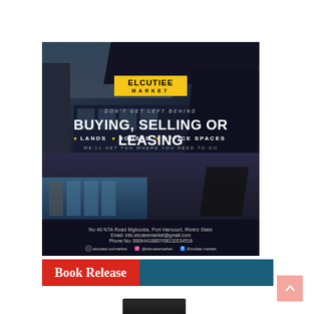[Figure (infographic): Elcutiee Market real estate advertisement showing a modern building exterior with dark overlay. Logo in yellow badge reading ELCUTIEE MARKET. Text: DON'T GET LEFT BEHIND / BUYING, SELLING OR LEASING / LANDS HOUSES OFFICE SPACES / WE'LL GET YOU WHERE YOU NEED TO GO. Footer: No 40 NTA Road Mgbuoba, Port Harcourt, Rivers State / Email: info.elcuteemarket@gmail.com / Phone No: 08064418807/08132034518 / social icons: elcutiee.co/market / @elcuteemarket / Elcutiee market]
Book Release